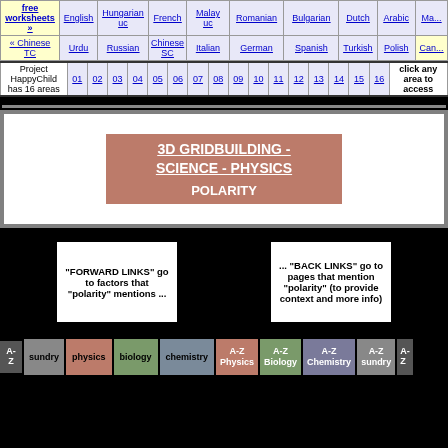| free worksheets » | English | Hungarian uc | French | Malay uc | Romanian | Bulgarian | Dutch | Arabic | Ma... |
| --- | --- | --- | --- | --- | --- | --- | --- | --- | --- |
| « Chinese TC | Urdu | Russian | Chinese SC | Italian | German | Spanish | Turkish | Polish | Can... |
| Project HappyChild has 16 areas | 01 | 02 | 03 | 04 | 05 | 06 | 07 | 08 | 09 | 10 | 11 | 12 | 13 | 14 | 15 | 16 | click any area to access |
| --- | --- | --- | --- | --- | --- | --- | --- | --- | --- | --- | --- | --- | --- | --- | --- | --- | --- |
3D GRIDBUILDING - SCIENCE - PHYSICS

POLARITY
"FORWARD LINKS" go to factors that "polarity" mentions ...
... "BACK LINKS" go to pages that mention "polarity" (to provide context and more info)
A-Z
sundry
physics
biology
chemistry
A-Z Physics
A-Z Biology
A-Z Chemistry
A-Z sundry
A-Z